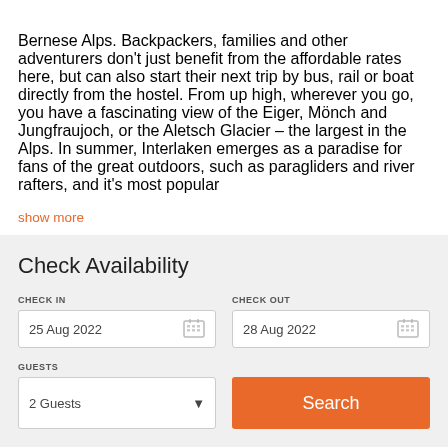Bernese Alps. Backpackers, families and other adventurers don't just benefit from the affordable rates here, but can also start their next trip by bus, rail or boat directly from the hostel. From up high, wherever you go, you have a fascinating view of the Eiger, Mönch and Jungfraujoch, or the Aletsch Glacier – the largest in the Alps. In summer, Interlaken emerges as a paradise for fans of the great outdoors, such as paragliders and river rafters, and it's most popular
show more
Check Availability
CHECK IN: 25 Aug 2022 | CHECK OUT: 28 Aug 2022 | GUESTS: 2 Guests | Search